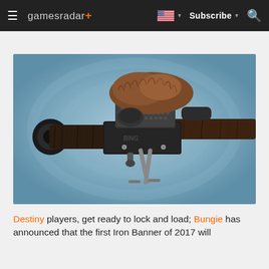gamesradar+ | Subscribe | [flag icon] | [search icon]
[Figure (photo): A detailed 3D render of a futuristic sniper rifle / rocket launcher style weapon with wooden barrel wrap, chain-link textured upper section, bipod stand, and scope, set against a blue circular background — a weapon from the game Destiny.]
Destiny players, get ready to lock and load; Bungie has announced that the first Iron Banner of 2017 will